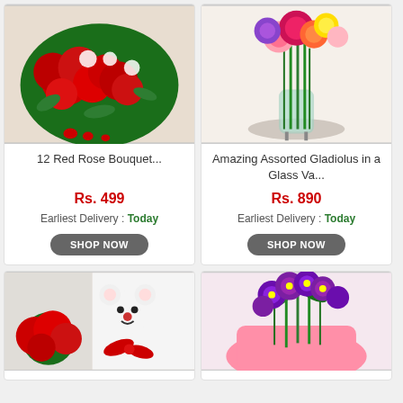[Figure (photo): 12 red rose bouquet with white baby's breath flowers and red heart decorations]
12 Red Rose Bouquet...
Rs. 499
Earliest Delivery : Today
SHOP NOW
[Figure (photo): Amazing assorted gladiolus flowers in pink, red, orange, yellow and purple in a glass vase on a table]
Amazing Assorted Gladiolus in a Glass Va...
Rs. 890
Earliest Delivery : Today
SHOP NOW
[Figure (photo): Red roses with a white teddy bear with red ribbon]
[Figure (photo): Purple orchid bouquet wrapped in pink paper]